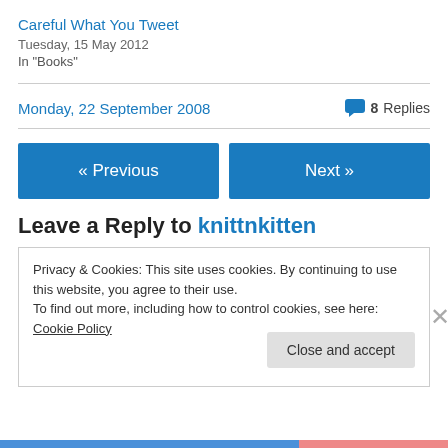Careful What You Tweet
Tuesday, 15 May 2012
In "Books"
Monday, 22 September 2008
8 Replies
« Previous
Next »
Leave a Reply to knittnkitten
Privacy & Cookies: This site uses cookies. By continuing to use this website, you agree to their use.
To find out more, including how to control cookies, see here: Cookie Policy
Close and accept